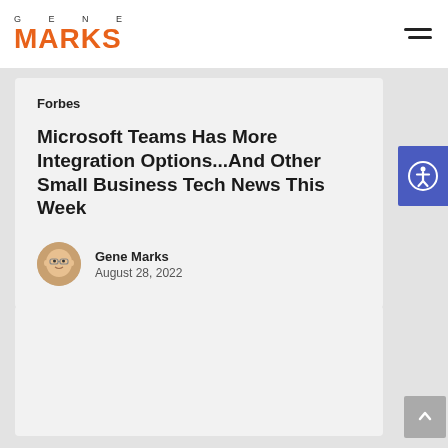GENE MARKS
Forbes
Microsoft Teams Has More Integration Options...And Other Small Business Tech News This Week
Gene Marks
August 28, 2022